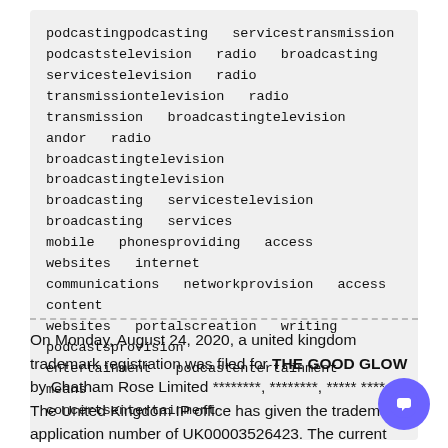podcastingpodcasting  servicestransmission podcaststelevision  radio  broadcasting servicestelevision  radio  transmissiontelevision  radio transmission  broadcastingtelevision  andor  radio broadcastingtelevision  broadcastingtelevision broadcasting  servicestelevision  broadcasting  services mobile  phonesproviding  access  websites  internet communications  networkprovision  access  content websites  portalscreation  writing  podcastsprovision entertainment  podcastentertainment  means concertsentertainment
On Monday, August 24, 2020, a united kingdom trademark registration was filed for THE GOOD GLOW by Chatham Rose Limited ********, ********, ***** ****. The United Kingdom IP office has given the trademark application number of UK00003526423. The current status of this trademark filing is Registered. The correspondent listed for THE GOOD GLOW is Brian